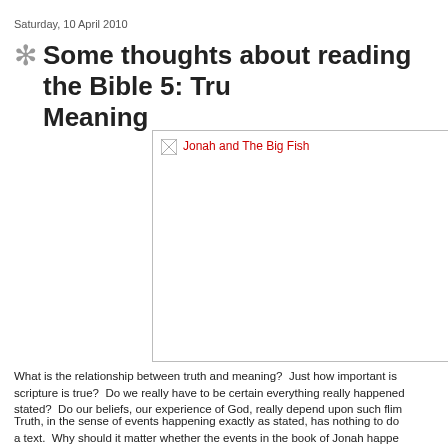Saturday, 10 April 2010
Some thoughts about reading the Bible 5: Tru... Meaning
[Figure (photo): Image placeholder with caption 'Jonah and The Big Fish' in red text, image not loaded]
What is the relationship between truth and meaning?  Just how important is it that scripture is true?  Do we really have to be certain everything really happened as stated?  Do our beliefs, our experience of God, really depend upon such flim...
Truth, in the sense of events happening exactly as stated, has nothing to do with a text.  Why should it matter whether the events in the book of Jonah happe... Believe this about Jonah if you wish but so far, the story has not spoken to w...